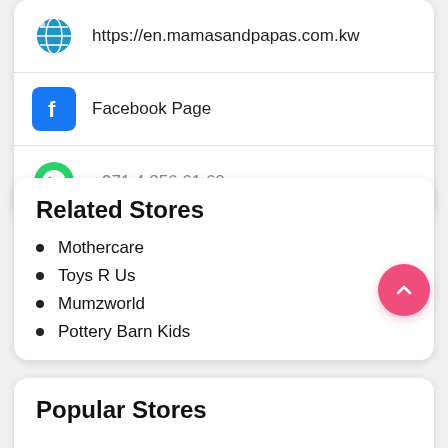https://en.mamasandpapas.com.kw
Facebook Page
+971 4 256 61 60
Related Stores
Mothercare
Toys R Us
Mumzworld
Pottery Barn Kids
Popular Stores